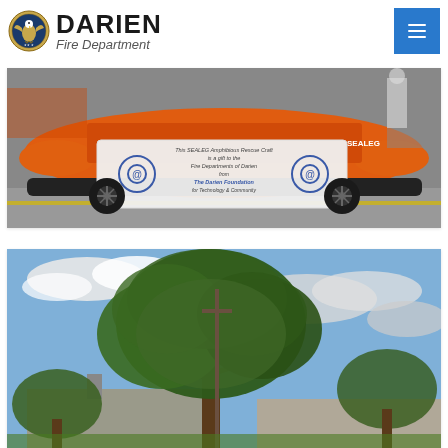Darien Fire Department
[Figure (photo): Orange inflatable rescue craft (SEALEG Amphibious Rescue Craft) on a trailer inside a garage, with a white banner reading 'This SEALEG Amphibious Rescue Craft is a gift to the Fire Department of Darien from The Darien Foundation for Technology & Community' with circular '@' logos on the sides.]
[Figure (photo): Outdoor scene showing tall green trees against a partly cloudy blue sky, with a building visible behind the trees and what appears to be a utility pole.]